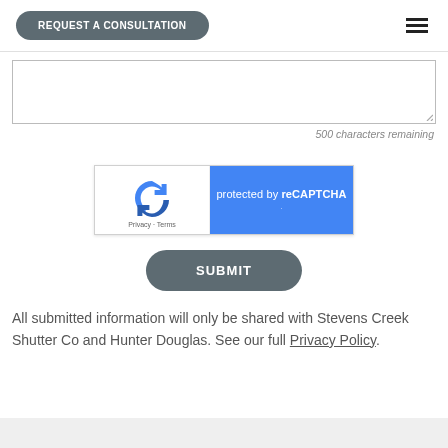REQUEST A CONSULTATION
500 characters remaining
[Figure (other): reCAPTCHA widget showing logo on white left panel with Privacy - Terms links, and blue right panel with text 'protected by reCAPTCHA']
SUBMIT
All submitted information will only be shared with Stevens Creek Shutter Co and Hunter Douglas. See our full Privacy Policy.